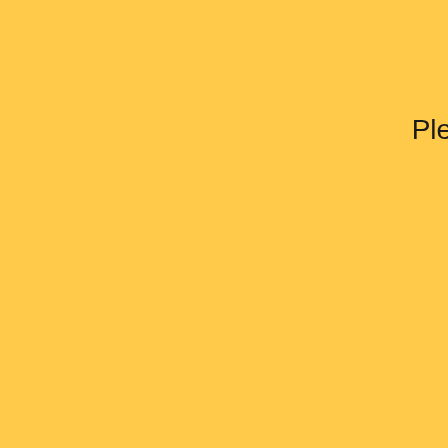Please use the m
Thank you fo
If you
clic
class